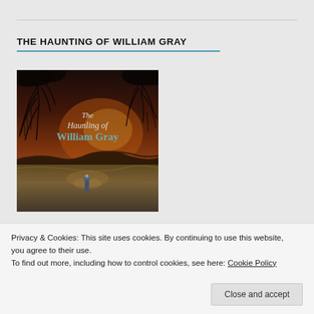THE HAUNTING OF WILLIAM GRAY
[Figure (illustration): Book cover for 'The Haunting of William Gray' showing a dark atmospheric scene with hanging tree branches, a stormy sky with orange/red hues, turbulent water, and a small lighthouse figure. The title text appears in white and teal lettering in the center of the cover.]
Privacy & Cookies: This site uses cookies. By continuing to use this website, you agree to their use.
To find out more, including how to control cookies, see here: Cookie Policy
Close and accept